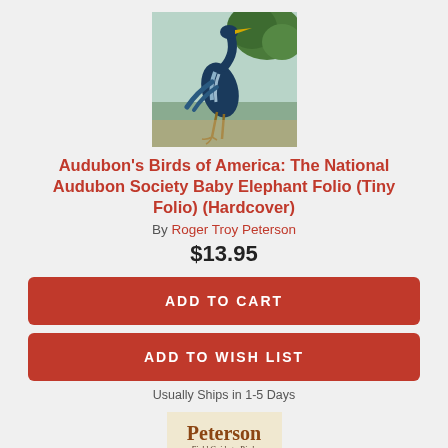[Figure (illustration): Audubon illustration of a Great Blue Heron in a natural wetland setting with green foliage]
Audubon's Birds of America: The National Audubon Society Baby Elephant Folio (Tiny Folio) (Hardcover)
By Roger Troy Peterson
$13.95
ADD TO CART
ADD TO WISH LIST
Usually Ships in 1-5 Days
[Figure (illustration): Peterson Field Guide to Birds of North America book cover showing colorful birds]